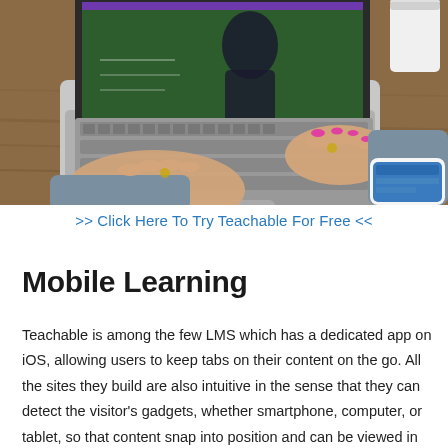[Figure (photo): A person typing on a MacBook Air laptop on a wooden desk. The laptop screen shows a video of a teacher in front of a green chalkboard. A smartphone is visible in the lower right corner, and a white cup is in the upper right.]
>> Click Here To Try Teachable For Free <<
Mobile Learning
Teachable is among the few LMS which has a dedicated app on iOS, allowing users to keep tabs on their content on the go. All the sites they build are also intuitive in the sense that they can detect the visitor's gadgets, whether smartphone, computer, or tablet, so that content snap into position and can be viewed in their proper